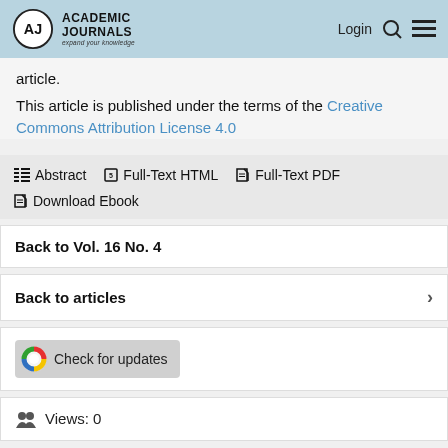Academic Journals — expand your knowledge | Login
article.
This article is published under the terms of the Creative Commons Attribution License 4.0
Abstract | Full-Text HTML | Full-Text PDF | Download Ebook
Back to Vol. 16 No. 4
Back to articles
[Figure (logo): CrossRef Check for updates button]
Views: 0